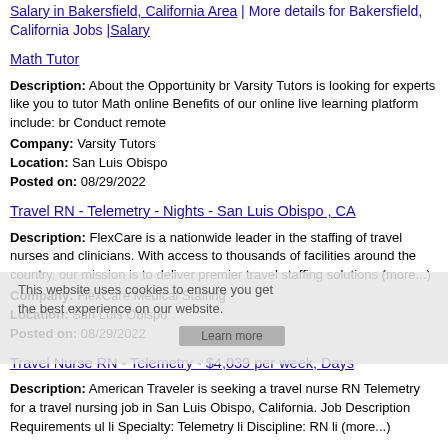Salary in Bakersfield, California Area | More details for Bakersfield, California Jobs |Salary
Math Tutor
Description: About the Opportunity br Varsity Tutors is looking for experts like you to tutor Math online Benefits of our online live learning platform include: br Conduct remote
Company: Varsity Tutors
Location: San Luis Obispo
Posted on: 08/29/2022
Travel RN - Telemetry - Nights - San Luis Obispo , CA
Description: FlexCare is a nationwide leader in the staffing of travel nurses and clinicians. With access to thousands of facilities around the country, our mission is to deliver premier travel staffing solutions (more...)
Company: FlexCare Medical Staffing
Location: San Luis Obispo
Posted on: 08/29/2022
Travel Nurse RN - Telemetry - $4,039 per week, Days
Description: American Traveler is seeking a travel nurse RN Telemetry for a travel nursing job in San Luis Obispo, California. Job Description Requirements ul li Specialty: Telemetry li Discipline: RN li (more...)